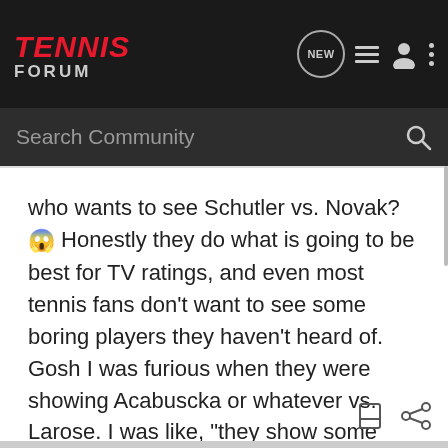TENNIS FORUM
Search Community
who wants to see Schutler vs. Novak?😱 Honestly they do what is going to be best for TV ratings, and even most tennis fans don't want to see some boring players they haven't heard of. Gosh I was furious when they were showing Acabuscka or whatever vs. Larose. I was like, "they show some crapshoot mens players and yet can't even bring us ONE early round women's match from non slam tournaments😱 ".
Romney/Ryan 2012